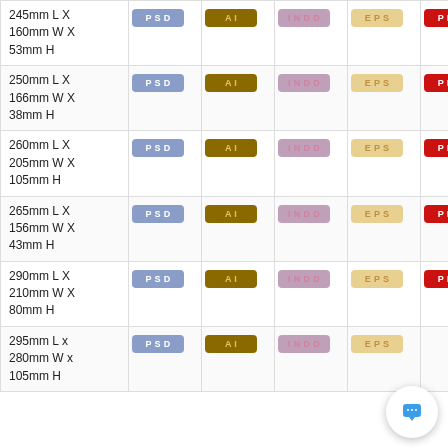| Dimensions | PSD | AI | INDD | EPS | PDF |
| --- | --- | --- | --- | --- | --- |
| 245mm L X 160mm W X 53mm H | PSD | AI | INDD | EPS | PDF |
| 250mm L X 166mm W X 38mm H | PSD | AI | INDD | EPS | PDF |
| 260mm L X 205mm W X 105mm H | PSD | AI | INDD | EPS | PDF |
| 265mm L X 156mm W X 43mm H | PSD | AI | INDD | EPS | PDF |
| 290mm L X 210mm W X 80mm H | PSD | AI | INDD | EPS | PDF |
| 295mm L x 280mm W x 105mm H | PSD | AI | INDD | EPS | PDF |